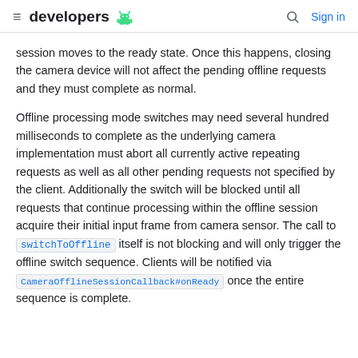developers [android logo] [search] Sign in
session moves to the ready state. Once this happens, closing the camera device will not affect the pending offline requests and they must complete as normal.
Offline processing mode switches may need several hundred milliseconds to complete as the underlying camera implementation must abort all currently active repeating requests as well as all other pending requests not specified by the client. Additionally the switch will be blocked until all requests that continue processing within the offline session acquire their initial input frame from camera sensor. The call to switchToOffline itself is not blocking and will only trigger the offline switch sequence. Clients will be notified via CameraOfflineSessionCallback#onReady once the entire sequence is complete.